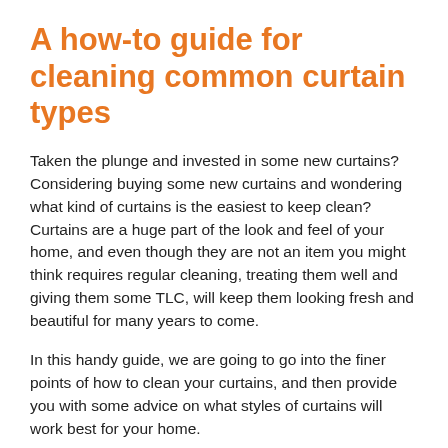A how-to guide for cleaning common curtain types
Taken the plunge and invested in some new curtains? Considering buying some new curtains and wondering what kind of curtains is the easiest to keep clean? Curtains are a huge part of the look and feel of your home, and even though they are not an item you might think requires regular cleaning, treating them well and giving them some TLC, will keep them looking fresh and beautiful for many years to come.
In this handy guide, we are going to go into the finer points of how to clean your curtains, and then provide you with some advice on what styles of curtains will work best for your home.
Looking for high quality curtains? Curtains